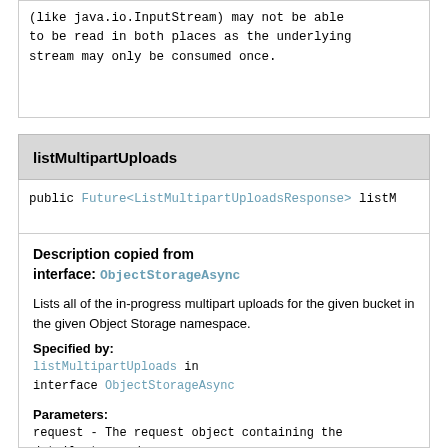(like java.io.InputStream) may not be able to be read in both places as the underlying stream may only be consumed once.
listMultipartUploads
public Future<ListMultipartUploadsResponse> listM
Description copied from interface: ObjectStorageAsync
Lists all of the in-progress multipart uploads for the given bucket in the given Object Storage namespace.
Specified by:
listMultipartUploads in interface ObjectStorageAsync
Parameters:
request - The request object containing the details to send